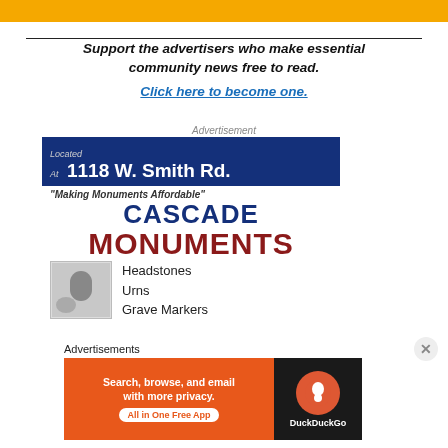[Figure (other): Yellow top banner advertisement strip]
Support the advertisers who make essential community news free to read.
Click here to become one.
Advertisement
[Figure (other): Cascade Monuments advertisement: Located At 1118 W. Smith Rd. 'Making Monuments Affordable' CASCADE MONUMENTS Headstones Urns Grave Markers]
Advertisements
[Figure (other): DuckDuckGo advertisement: Search, browse, and email with more privacy. All in One Free App]